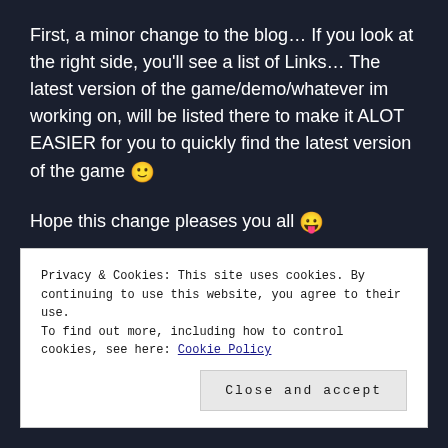First, a minor change to the blog… If you look at the right side, you'll see a list of Links… The latest version of the game/demo/whatever im working on, will be listed there to make it ALOT EASIER for you to quickly find the latest version of the game 🙂
Hope this change pleases you all 😛
Now, onto the real deal! Tweaks and changes and new additions to the game! 🙂
Privacy & Cookies: This site uses cookies. By continuing to use this website, you agree to their use.
To find out more, including how to control cookies, see here: Cookie Policy
Close and accept
wanted the Bonus Items to vanish as soon as you